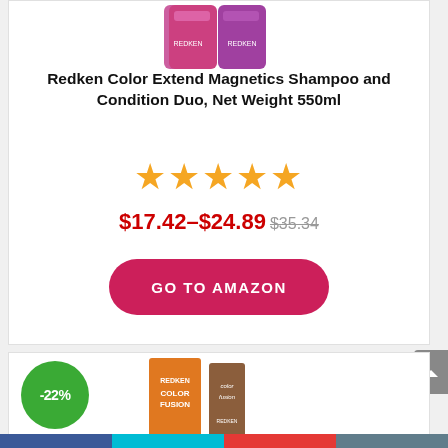[Figure (photo): Redken Color Extend Magnetics shampoo and conditioner bottles in pink/purple packaging, partially visible at top]
Redken Color Extend Magnetics Shampoo and Condition Duo, Net Weight 550ml
★★★★★
$17.42–$24.89 $35.34
GO TO AMAZON
[Figure (photo): Redken Color Fusion hair color product boxes in orange packaging, partially visible at bottom of page]
-22%